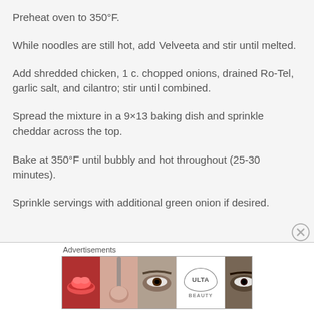Preheat oven to 350°F.
While noodles are still hot, add Velveeta and stir until melted.
Add shredded chicken, 1 c. chopped onions, drained Ro-Tel, garlic salt, and cilantro; stir until combined.
Spread the mixture in a 9×13 baking dish and sprinkle cheddar across the top.
Bake at 350°F until bubbly and hot throughout (25-30 minutes).
Sprinkle servings with additional green onion if desired.
[Figure (other): Ulta beauty advertisement banner with makeup product images and 'SHOP NOW' call to action]